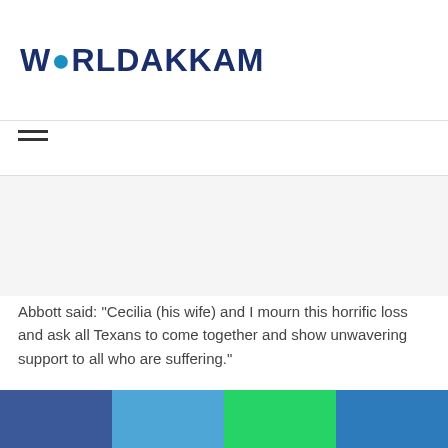WORLDAKKAM
Abbott said: “Cecilia (his wife) and I mourn this horrific loss and ask all Texans to come together and show unwavering support to all who are suffering.”
Abbott said he had instructed the Texas Department of Public